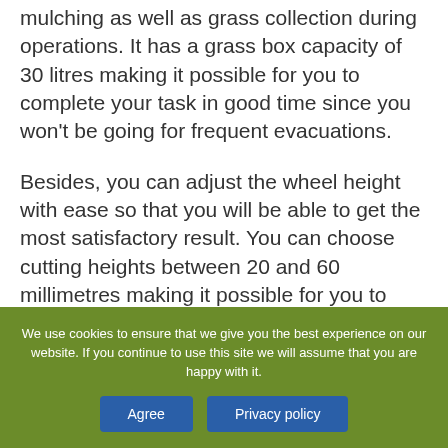mulching as well as grass collection during operations. It has a grass box capacity of 30 litres making it possible for you to complete your task in good time since you won't be going for frequent evacuations.
Besides, you can adjust the wheel height with ease so that you will be able to get the most satisfactory result. You can choose cutting heights between 20 and 60 millimetres making it possible for you to achieve the best result. Its advanced digital brushless motor is a plus, and that is why
We use cookies to ensure that we give you the best experience on our website. If you continue to use this site we will assume that you are happy with it.